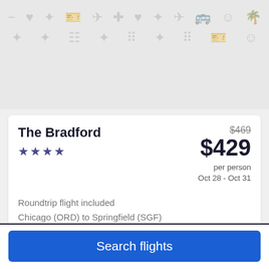[Figure (illustration): Gray decorative background with travel-themed icons (hearts, airplanes, stars, smiley faces, luggage, etc.) in a repeating pattern — top section]
The Bradford
★★★½
$469 (strikethrough)
$429
per person
Oct 28 - Oct 31
Roundtrip flight included
Chicago (ORD) to Springfield (SGF)
[Figure (illustration): Gray decorative background with travel-themed icons — bottom section (partially visible)]
Search flights